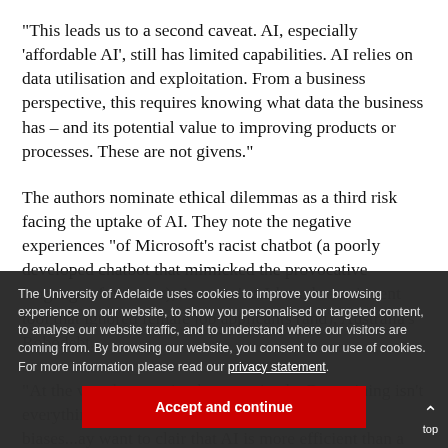“This leads us to a second caveat. AI, especially ‘affordable AI’, still has limited capabilities. AI relies on data utilisation and exploitation. From a business perspective, this requires knowing what data the business has – and its potential value to improving products or processes. These are not givens.”
The authors nominate ethical dilemmas as a third risk facing the uptake of AI. They note the negative experiences “of Microsoft’s racist chatbot (a poorly developed chatbot that mimicked the provocative language of its users), Amazon’s AI-based recruitment tool that ignored female job applicants (and), Australia’s Robodebt...
“At the very least... trained appropriately. But training isn’t everything. AI requires understanding of human biases... may want to claim that AI is more efficient than a human (it can do jobs...
The University of Adelaide uses cookies to improve your browsing experience on our website, to show you personalised or targeted content, to analyse our website traffic, and to understand where our visitors are coming from. By browsing our website, you consent to our use of cookies. For more information please read our privacy statement.